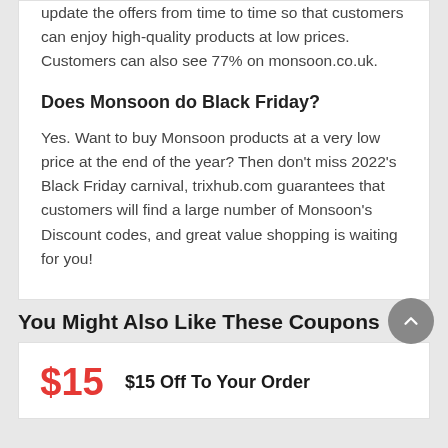update the offers from time to time so that customers can enjoy high-quality products at low prices. Customers can also see 77% on monsoon.co.uk.
Does Monsoon do Black Friday?
Yes. Want to buy Monsoon products at a very low price at the end of the year? Then don't miss 2022's Black Friday carnival, trixhub.com guarantees that customers will find a large number of Monsoon's Discount codes, and great value shopping is waiting for you!
You Might Also Like These Coupons
$15 Off To Your Order